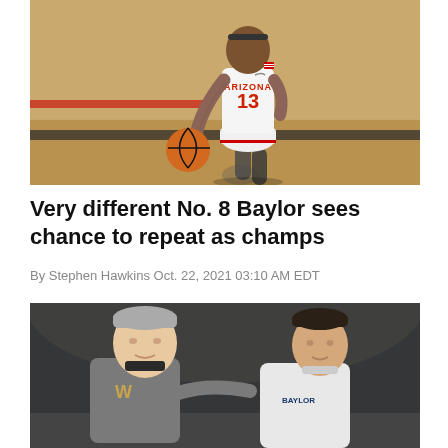[Figure (photo): Basketball player wearing Arizona Wildcats white uniform with number 23, dribbling a basketball on a hardwood court with Arizona logo visible]
Very different No. 8 Baylor sees chance to repeat as champs
By Stephen Hawkins Oct. 22, 2021 03:10 AM EDT
[Figure (photo): Two men in athletic wear talking — one in a gray West Virginia jacket on the left and one in a white Baylor jacket on the right, in a dark arena setting]